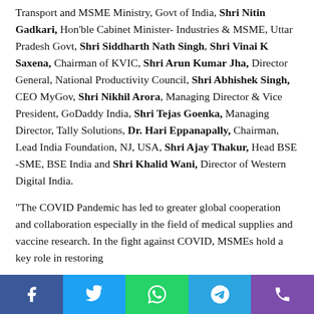Transport and MSME Ministry, Govt of India, Shri Nitin Gadkari, Hon'ble Cabinet Minister- Industries & MSME, Uttar Pradesh Govt, Shri Siddharth Nath Singh, Shri Vinai K Saxena, Chairman of KVIC, Shri Arun Kumar Jha, Director General, National Productivity Council, Shri Abhishek Singh, CEO MyGov, Shri Nikhil Arora, Managing Director & Vice President, GoDaddy India, Shri Tejas Goenka, Managing Director, Tally Solutions, Dr. Hari Eppanapally, Chairman, Lead India Foundation, NJ, USA, Shri Ajay Thakur, Head BSE -SME, BSE India and Shri Khalid Wani, Director of Western Digital India.
“The COVID Pandemic has led to greater global cooperation and collaboration especially in the field of medical supplies and vaccine research. In the fight against COVID, MSMEs hold a key role in restoring...